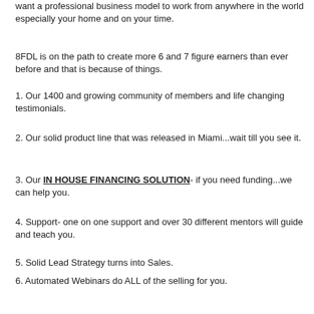want a professional business model to work from anywhere in the world especially your home and on your time.
8FDL is on the path to create more 6 and 7 figure earners than ever before and that is because of things.
1. Our 1400 and growing community of members and life changing testimonials.
2. Our solid product line that was released in Miami...wait till you see it.
3. Our IN HOUSE FINANCING SOLUTION- if you need funding...we can help you.
4. Support- one on one support and over 30 different mentors will guide and teach you.
5. Solid Lead Strategy turns into Sales.
6. Automated Webinars do ALL of the selling for you.
......and we're just getting started. We will show you how to make money with our system and use our products to create multiple streams of income and then keep your wealth.